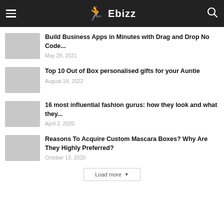Ebizz
Build Business Apps in Minutes with Drag and Drop No Code...
May 29, 2021
Top 10 Out of Box personalised gifts for your Auntie
August 18, 2022
16 most influential fashion gurus: how they look and what they...
April 2, 2020
Reasons To Acquire Custom Mascara Boxes? Why Are They Highly Preferred?
October 13, 2020
Load more